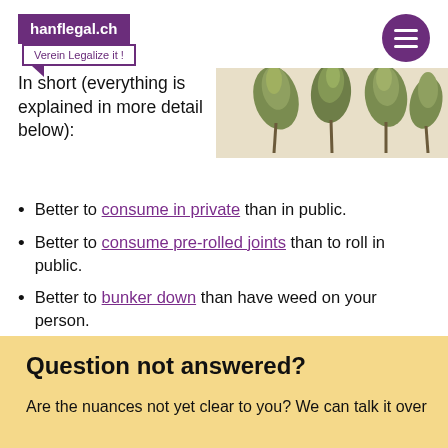[Figure (logo): hanflegal.ch logo with purple background and 'Verein Legalize it!' speech bubble subtitle]
[Figure (photo): Close-up photo of cannabis buds/flowers on white background, top right corner]
In short (everything is explained in more detail below):
Better to consume in private than in public.
Better to consume pre-rolled joints than to roll in public.
Better to bunker down than have weed on your person.
Much less odor due to vaporize instead of smoke.
Do not record consumption on technical devices.
Question not answered?
Are the nuances not yet clear to you? We can talk it over